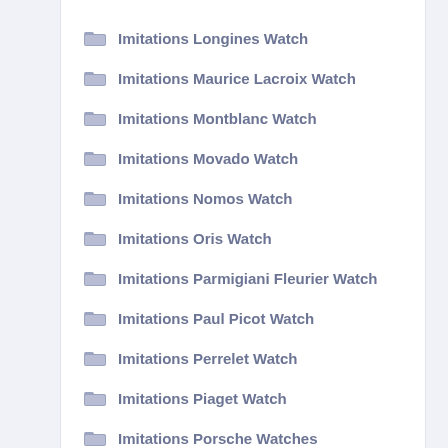Imitations Longines Watch
Imitations Maurice Lacroix Watch
Imitations Montblanc Watch
Imitations Movado Watch
Imitations Nomos Watch
Imitations Oris Watch
Imitations Parmigiani Fleurier Watch
Imitations Paul Picot Watch
Imitations Perrelet Watch
Imitations Piaget Watch
Imitations Porsche Watches
Imitations Rado Watch